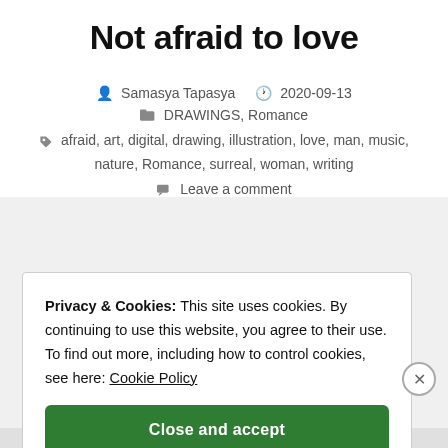Not afraid to love
Samasya Tapasya  2020-09-13
DRAWINGS, Romance
afraid, art, digital, drawing, illustration, love, man, music, nature, Romance, surreal, woman, writing
Leave a comment
Privacy & Cookies: This site uses cookies. By continuing to use this website, you agree to their use.
To find out more, including how to control cookies, see here: Cookie Policy
Close and accept